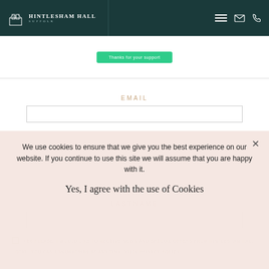Hintlesham Hall Suffolk
[Figure (screenshot): Green button with text 'Thanks for your support']
EMAIL
We use cookies to ensure that we give you the best experience on our website. If you continue to use this site we will assume that you are happy with it.
Yes, I agree with the use of Cookies
LASTNAME
YES PLEASE, I WOULD LIKE TO RECEIVE NEWS AND SPECIAL OFFERS FROM HINTLESHAM HALL HOTEL. YOU CAN UNSUBSCRIBE AT ANY TIME. VIEW PRIVACY POLICY